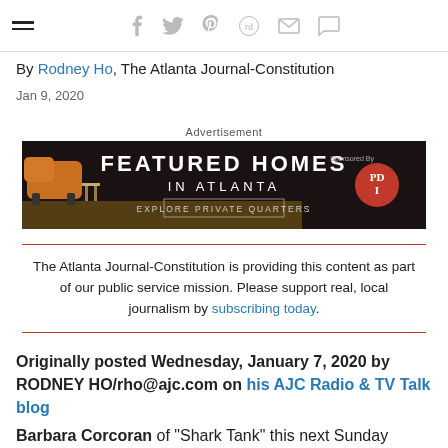≡  f  𝕥  𝗽  𝗿𝗲𝗱𝗱𝗶𝘁  ✉  💬
By Rodney Ho, The Atlanta Journal-Constitution
Jan 9, 2020
Advertisement
[Figure (other): Advertisement banner for Featured Homes in Atlanta – Explore Private Quarters, sponsored by PDI. Dark background with orange armchair on left, white text reading FEATURED HOMES IN ATLANTA, red circular PDI logo on right.]
The Atlanta Journal-Constitution is providing this content as part of our public service mission. Please support real, local journalism by subscribing today.
Originally posted Wednesday, January 7, 2020 by RODNEY HO/rho@ajc.com on his AJC Radio & TV Talk blog
Barbara Corcoran of "Shark Tank" this next Sunday